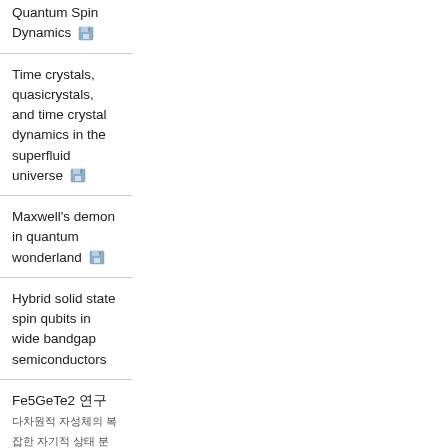Quantum Spin Dynamics
Time crystals, quasicrystals, and time crystal dynamics in the superfluid universe
Maxwell's demon in quantum wonderland
Hybrid solid state spin qubits in wide bandgap semiconductors
Fe5GeTe2 관련 논문 다차원적 자성체의 복잡한 자기적 상태 분석 및 연구
Graphene based nano electronics and nano electromechanics;